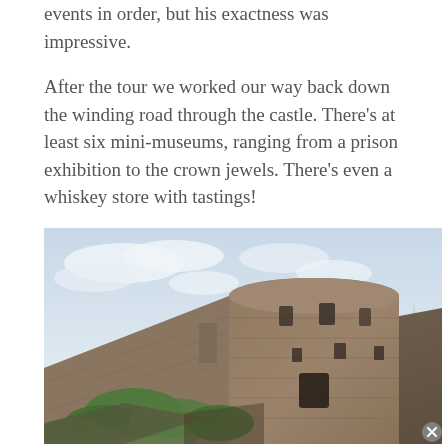events in order, but his exactness was impressive.
After the tour we worked our way back down the winding road through the castle. There's at least six mini-museums, ranging from a prison exhibition to the crown jewels. There's even a whiskey store with tastings!
[Figure (photo): Low-angle photograph of Edinburgh Castle stone walls and round tower, with green vegetation growing on the lower rocks and a pale cloudy sky in the background.]